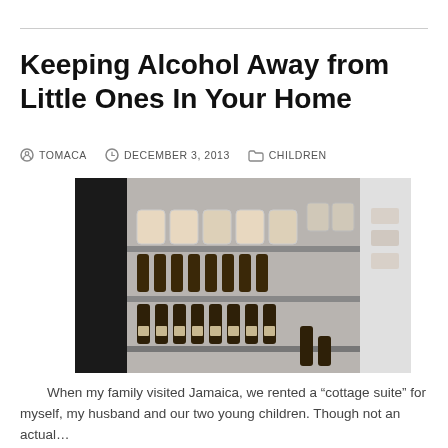Keeping Alcohol Away from Little Ones In Your Home
TOMACA   DECEMBER 3, 2013   CHILDREN
[Figure (photo): A beverage refrigerator stocked with beer cans on the upper shelf and multiple rows of beer bottles on the lower shelves, with a black door on the left and white shelving unit on the right.]
When my family visited Jamaica, we rented a “cottage suite” for myself, my husband and our two young children. Though not an actual…